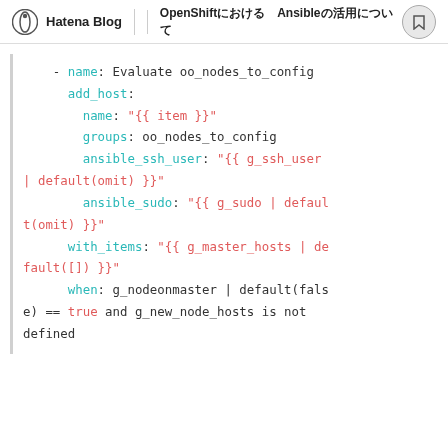Hatena Blog | OpenShiftにおけるAnsibleの活用について
- name: Evaluate oo_nodes_to_config
    add_host:
      name: "{{ item }}"
      groups: oo_nodes_to_config
      ansible_ssh_user: "{{ g_ssh_user | default(omit) }}"
      ansible_sudo: "{{ g_sudo | default(omit) }}"
    with_items: "{{ g_master_hosts | default([]) }}"
    when: g_nodeonmaster | default(false) == true and g_new_node_hosts is not defined